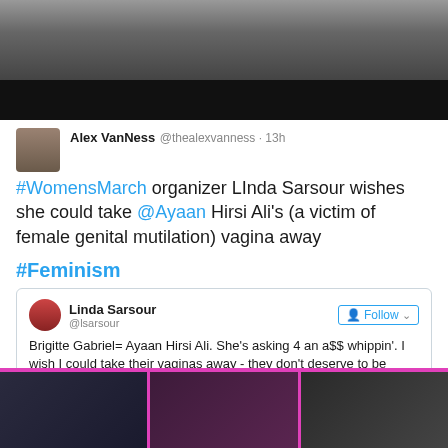[Figure (photo): Top cropped image showing dark background with partial silhouette/figure]
Alex VanNess @thealexvanness · 13h
#WomensMarch organizer LInda Sarsour wishes she could take @Ayaan Hirsi Ali's (a victim of female genital mutilation) vagina away

#Feminism
[Figure (screenshot): Quoted tweet from Linda Sarsour @lsarsour: Brigitte Gabriel= Ayaan Hirsi Ali. She's asking 4 an a$$ whippin'. I wish I could take their vaginas away - they don't deserve to be women.]
[Figure (photo): Bottom strip with pink/magenta border showing three celebrity photos side by side]